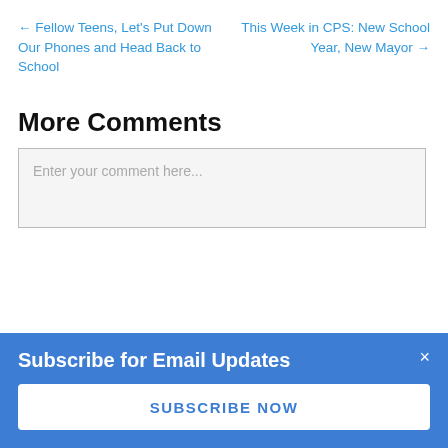← Fellow Teens, Let's Put Down Our Phones and Head Back to School
This Week in CPS: New School Year, New Mayor →
More Comments
Enter your comment here...
Subscribe for Email Updates
SUBSCRIBE NOW